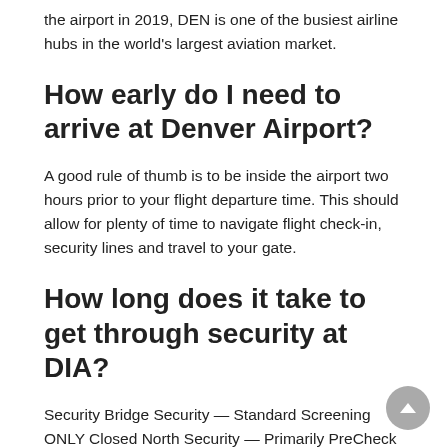the airport in 2019, DEN is one of the busiest airline hubs in the world's largest aviation market.
How early do I need to arrive at Denver Airport?
A good rule of thumb is to be inside the airport two hours prior to your flight departure time. This should allow for plenty of time to navigate flight check-in, security lines and travel to your gate.
How long does it take to get through security at DIA?
Security Bridge Security — Standard Screening ONLY Closed North Security — Primarily PreCheck Open TSA